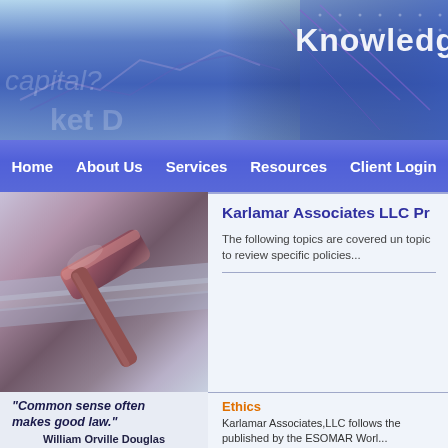Knowledg
[Figure (screenshot): Blue gradient header banner with financial chart overlay graphics]
Home | About Us | Services | Resources | Client Login
[Figure (photo): Close-up photo of a wooden judge's gavel resting on books/documents]
"Common sense often makes good law."
William Orville Douglas
Karlamar Associates LLC Pr
The following topics are covered un topic to review specific policies...
Ethics
Karlamar Associates,LLC follows the published by the ESOMAR Worl...